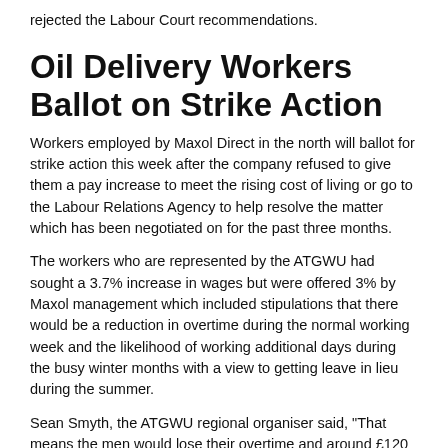rejected the Labour Court recommendations.
Oil Delivery Workers Ballot on Strike Action
Workers employed by Maxol Direct in the north will ballot for strike action this week after the company refused to give them a pay increase to meet the rising cost of living or go to the Labour Relations Agency to help resolve the matter which has been negotiated on for the past three months.
The workers who are represented by the ATGWU had sought a 3.7% increase in wages but were offered 3% by Maxol management which included stipulations that there would be a reduction in overtime during the normal working week and the likelihood of working additional days during the busy winter months with a view to getting leave in lieu during the summer.
Sean Smyth, the ATGWU regional organiser said, "That means the men would lose their overtime and around £120 for doing three extra days and not being paid for it". He further went on to say "In reality, this is a pay cut. It would mean a loss of £40 a day.
"All we want is an increase in keeping with inflation".